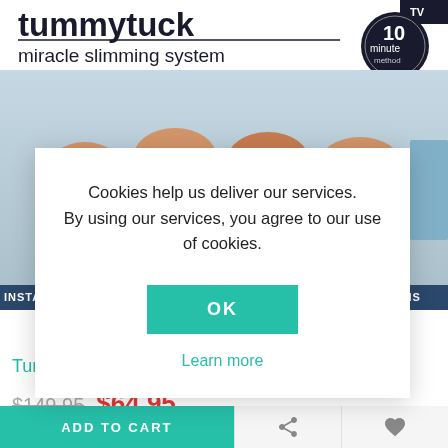[Figure (photo): Product image of Tummy Tuck miracle slimming system packaging showing brand name, '10 minute method' badge, and before/after torso photos in pink and blue]
Cookies help us deliver our services. By using our services, you agree to our use of cookies.
OK
Learn more
Tummy Tuck Miracle Slimming System
$149.95  $64.95
ADD TO CART